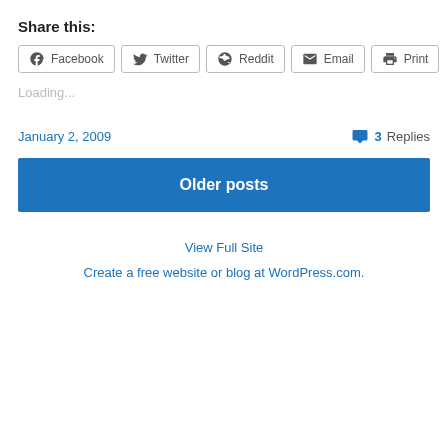Share this:
Facebook Twitter Reddit Email Print
Loading...
January 2, 2009
3 Replies
Older posts
View Full Site
Create a free website or blog at WordPress.com.